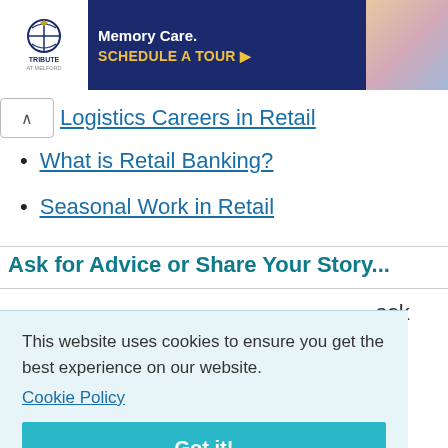[Figure (other): Banner advertisement for Tribute at Melford Memory Care with logo, text 'Memory Care. SCHEDULE A TOUR ▶' and a photo of elderly people]
Logistics Careers in Retail
What is Retail Banking?
Seasonal Work in Retail
Ask for Advice or Share Your Story...
...ask (partial text, remainder obscured by cookie overlay)
This website uses cookies to ensure you get the best experience on our website. Cookie Policy
Got it!
(never shown) Email: (never shown)